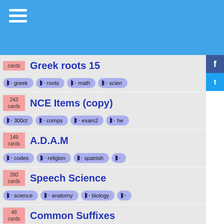Greek roots 15 — cards — tags: greek, roots, math, science
NCE Items (copy) — 243 cards — tags: 300ct, comps, exam2, he
A.D.A.M — 149 cards — tags: codes, religion, spanish
Speech Science — 260 cards — tags: science, anatomy, biology
Common Suffixes — 48 cards — tags: suffixes, biology, medicine
NCE Items (copy) — 243 cards — tags: 300ct, comps, exam2, he
NCE Items (copy) — 243 cards — tags: 300ct, comps, exam2, he